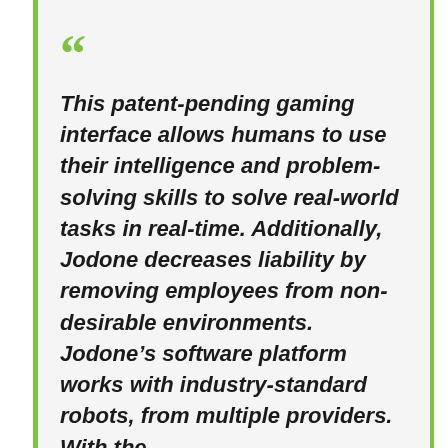This patent-pending gaming interface allows humans to use their intelligence and problem-solving skills to solve real-world tasks in real-time. Additionally, Jodone decreases liability by removing employees from non-desirable environments. Jodone’s software platform works with industry-standard robots, from multiple providers. With the